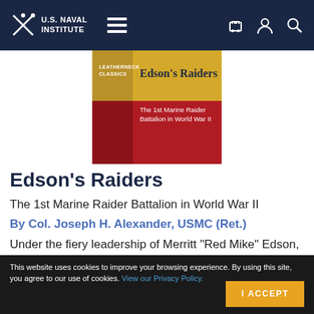U.S. Naval Institute
[Figure (illustration): Book cover of Edson's Raiders: The 1st Marine Raider Battalion in World War II, showing yellow and red sections with title text]
Edson's Raiders
The 1st Marine Raider Battalion in World War II
By Col. Joseph H. Alexander, USMC (Ret.)
Under the fiery leadership of Merritt "Red Mike" Edson, the 1st Marine Raider Battalion provided the vanguard of a strategic experiment with seaborne
This website uses cookies to improve your browsing experience. By using this site, you agree to our use of cookies. View our Privacy Policy.